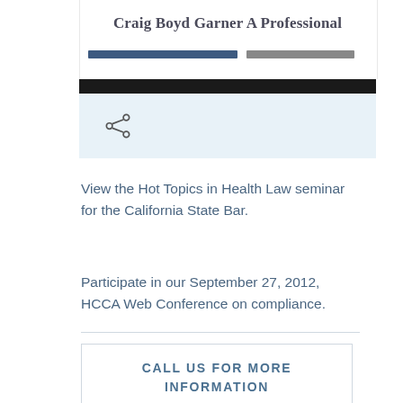Craig Boyd Garner A Professional
[Figure (screenshot): Website header screenshot with blue and gray decorative bars, a black stripe, and a light blue share bar with share icon]
View the Hot Topics in Health Law seminar for the California State Bar.
Participate in our September 27, 2012, HCCA Web Conference on compliance.
CALL US FOR MORE INFORMATION